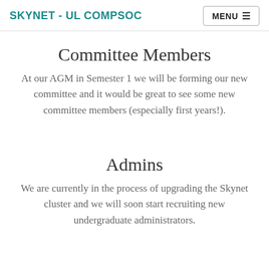SKYNET - UL COMPSOC
Committee Members
At our AGM in Semester 1 we will be forming our new committee and it would be great to see some new committee members (especially first years!).
Admins
We are currently in the process of upgrading the Skynet cluster and we will soon start recruiting new undergraduate administrators.